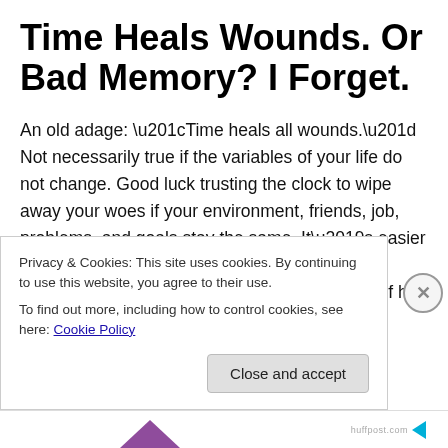Time Heals Wounds. Or Bad Memory? I Forget.
An old adage: “Time heals all wounds.” Not necessarily true if the variables of your life do not change. Good luck trusting the clock to wipe away your woes if your environment, friends, job, problems, and goals stay the same. It’s easier to get over an ex if you never see him or her; it’s particularly difficult to get over the ex if he or she is your neighbor. Your woes won’t leave you alone if they live next door.
Privacy & Cookies: This site uses cookies. By continuing to use this website, you agree to their use.
To find out more, including how to control cookies, see here: Cookie Policy
Close and accept